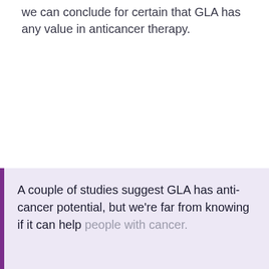we can conclude for certain that GLA has any value in anticancer therapy.
A couple of studies suggest GLA has anti-cancer potential, but we're far from knowing if it can help people with cancer.